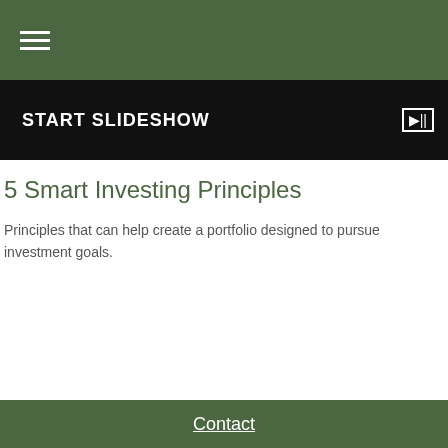Navigation menu (hamburger icon)
[Figure (screenshot): START SLIDESHOW banner with play button icon on dark background]
5 Smart Investing Principles
Principles that can help create a portfolio designed to pursue investment goals.
Contact
Toll-Free: (877) 403-1631
Office: (361) 594-2530
Fax: (361) 594-8077
516 North Avenue H
POB 637
Shiner, TX 77984
tommy.pietsch@lpl.com